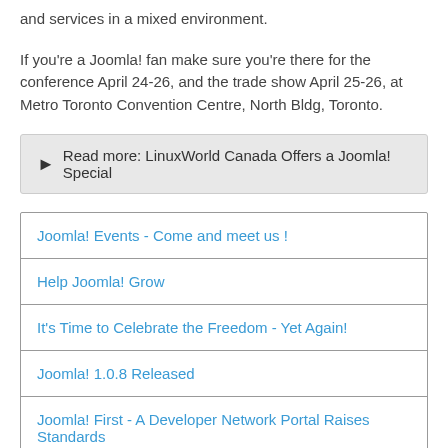and services in a mixed environment.
If you're a Joomla! fan make sure you're there for the conference April 24-26, and the trade show April 25-26, at Metro Toronto Convention Centre, North Bldg, Toronto.
Read more: LinuxWorld Canada Offers a Joomla! Special
Joomla! Events - Come and meet us !
Help Joomla! Grow
It's Time to Celebrate the Freedom - Yet Again!
Joomla! 1.0.8 Released
Joomla! First - A Developer Network Portal Raises Standards
Subcategories